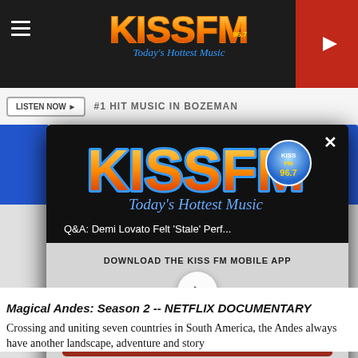[Figure (screenshot): KISS FM 96.7 radio station website screenshot with a modal popup overlay. The top bar shows the KISS FM logo with 'Today's Hottest Music' tagline and a red play button. A listen now button and '#1 HIT MUSIC IN BOZEMAN' text is partially visible. A modal dialog shows the KISS FM logo, a subtitle 'Q&A: Demi Lovato Felt Stale Perf...', a download prompt 'DOWNLOAD THE KISS FM MOBILE APP', a play button circle, a red 'GET OUR FREE MOBILE APP' button, and 'Also listen on: amazon alexa' text. Below the modal, article text reads 'Magical Andes: Season 2 -- NETFLIX DOCUMENTARY' followed by 'Crossing and uniting seven countries in South America, the Andes always have another landscape, adventure and story'.]